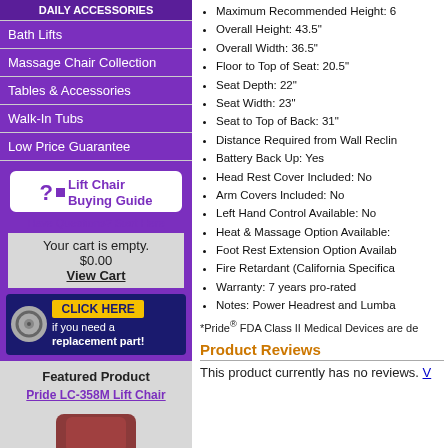Bath Lifts
Massage Chair Collection
Tables & Accessories
Walk-In Tubs
Low Price Guarantee
[Figure (illustration): Lift Chair Buying Guide box with question mark icon]
Have Questions? Start Here
Your cart is empty.
$0.00
View Cart
[Figure (illustration): Click Here if you need a replacement part banner]
Featured Product
Pride LC-358M Lift Chair
[Figure (photo): Brown lift chair product photo]
Maximum Recommended Height: 6
Overall Height: 43.5"
Overall Width: 36.5"
Floor to Top of Seat: 20.5"
Seat Depth: 22"
Seat Width: 23"
Seat to Top of Back: 31"
Distance Required from Wall Reclin
Battery Back Up: Yes
Head Rest Cover Included: No
Arm Covers Included: No
Left Hand Control Available: No
Heat & Massage Option Available:
Foot Rest Extension Option Availab
Fire Retardant (California Specifica
Warranty: 7 years pro-rated
Notes: Power Headrest and Lumba
*Pride® FDA Class II Medical Devices are de
Product Reviews
This product currently has no reviews. V